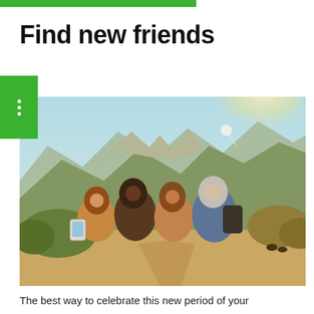Find new friends
[Figure (photo): Group of four middle-aged friends taking a selfie outdoors on a mountain trail on a sunny day, smiling and laughing]
The best way to celebrate this new period of your